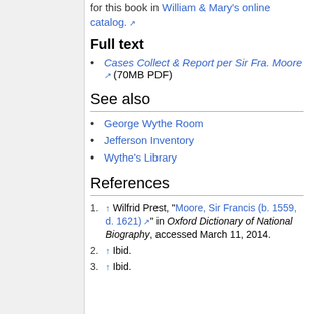for this book in William & Mary's online catalog.
Full text
Cases Collect & Report per Sir Fra. Moore (70MB PDF)
See also
George Wythe Room
Jefferson Inventory
Wythe's Library
References
↑ Wilfrid Prest, "Moore, Sir Francis (b. 1559, d. 1621)" in Oxford Dictionary of National Biography, accessed March 11, 2014.
↑ Ibid.
↑ Ibid.